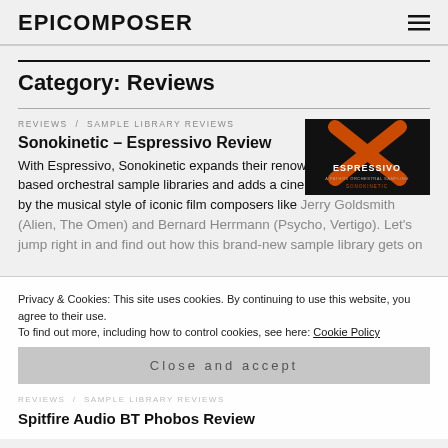EPICOMPOSER
Category: Reviews
REVIEWS / SAMPLE LIBRARY REVIEWS
Sonokinetic – Espressivo Review
[Figure (photo): Espressivo product logo — orange X on dark background with text ESPRESSIVO A PATHOS ORCHESTRAL SAMPLING SONOKINETIC]
With Espressivo, Sonokinetic expands their renowned range of phrase-based orchestral sample libraries and adds a cinematic toolkit inspired by the musical style of iconic film composers like Jerry Goldsmith (Alien, The Omen) and Bernard Herrmann (Psycho, Vertigo). Let's jump right in and find out how this brand-new sample library gets on
Privacy & Cookies: This site uses cookies. By continuing to use this website, you agree to their use.
To find out more, including how to control cookies, see here: Cookie Policy
Close and accept
REVIEWS / SAMPLE LIBRARY REVIEWS
Spitfire Audio BT Phobos Review